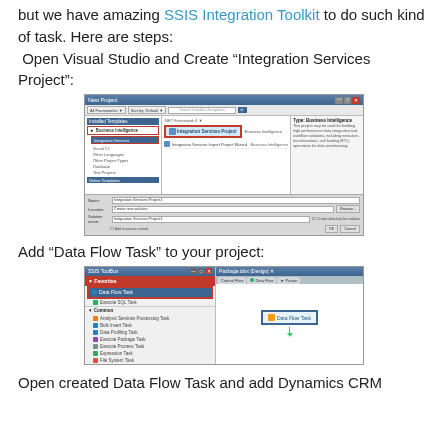but we have amazing SSIS Integration Toolkit to do such kind of task. Here are steps:
Open Visual Studio and Create “Integration Services Project”:
[Figure (screenshot): Screenshot of Visual Studio New Project dialog showing Business Intelligence and Integration Services Project template selected]
Add “Data Flow Task” to your project:
[Figure (screenshot): Screenshot of SSIS Toolbox and Package design canvas showing Data Flow Task highlighted in red box, with Data Flow Task added to the design canvas]
Open created Data Flow Task and add Dynamics CRM